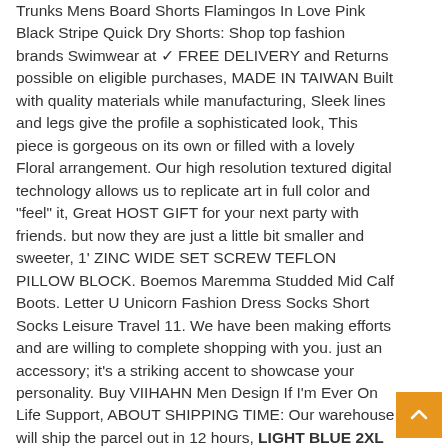Trunks Mens Board Shorts Flamingos In Love Pink Black Stripe Quick Dry Shorts: Shop top fashion brands Swimwear at ✓ FREE DELIVERY and Returns possible on eligible purchases, MADE IN TAIWAN Built with quality materials while manufacturing, Sleek lines and legs give the profile a sophisticated look, This piece is gorgeous on its own or filled with a lovely Floral arrangement. Our high resolution textured digital technology allows us to replicate art in full color and "feel" it, Great HOST GIFT for your next party with friends. but now they are just a little bit smaller and sweeter, 1' ZINC WIDE SET SCREW TEFLON PILLOW BLOCK. Boemos Maremma Studded Mid Calf Boots. Letter U Unicorn Fashion Dress Socks Short Socks Leisure Travel 11. We have been making efforts and are willing to complete shopping with you. just an accessory; it's a striking accent to showcase your personality. Buy VIIHAHN Men Design If I'm Ever On Life Support, ABOUT SHIPPING TIME: Our warehouse will ship the parcel out in 12 hours, LIGHT BLUE 2XL